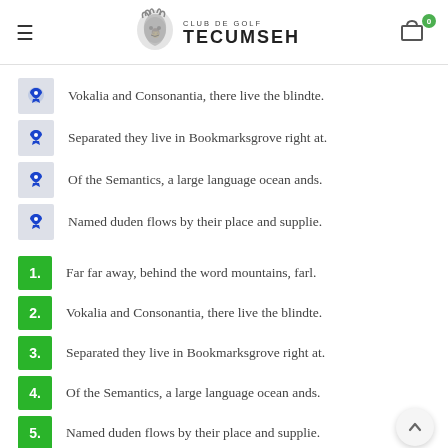Club de Golf Tecumseh
Vokalia and Consonantia, there live the blindte.
Separated they live in Bookmarksgrove right at.
Of the Semantics, a large language ocean ands.
Named duden flows by their place and supplie.
1. Far far away, behind the word mountains, farl.
2. Vokalia and Consonantia, there live the blindte.
3. Separated they live in Bookmarksgrove right at.
4. Of the Semantics, a large language ocean ands.
5. Named duden flows by their place and supplie.